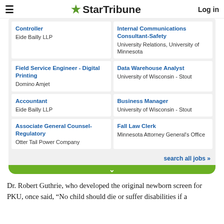StarTribune  Log in
Controller
Eide Bailly LLP
Internal Communications Consultant-Safety
University Relations, University of Minnesota
Field Service Engineer - Digital Printing
Domino Amjet
Data Warehouse Analyst
University of Wisconsin - Stout
Accountant
Eide Bailly LLP
Business Manager
University of Wisconsin - Stout
Associate General Counsel-Regulatory
Otter Tail Power Company
Fall Law Clerk
Minnesota Attorney General's Office
search all jobs »
Dr. Robert Guthrie, who developed the original newborn screen for PKU, once said, “No child should die or suffer disabilities if a